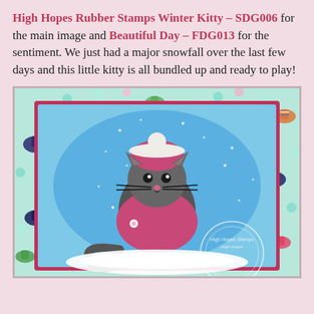High Hopes Rubber Stamps Winter Kitty – SDG006 for the main image and Beautiful Day – FDG013 for the sentiment. We just had a major snowfall over the last few days and this little kitty is all bundled up and ready to play!
[Figure (photo): A handmade craft card featuring a cartoon cat wearing a pink winter hat and scarf, centered in a blue oval with snowflakes, surrounded by a patterned background of colorful mittens and gloves. A High Hopes Stamps watermark/logo is visible in the lower right corner.]